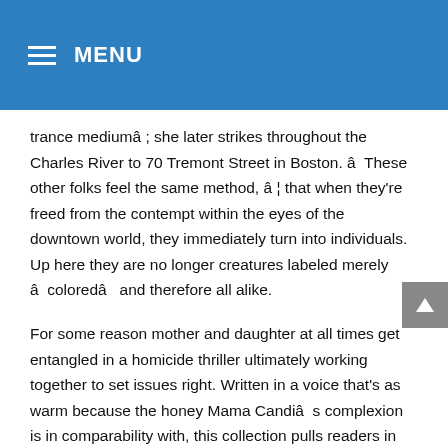MENU
trance mediumâ ; she later strikes throughout the Charles River to 70 Tremont Street in Boston. â  These other folks feel the same method, â ¦ that when they're freed from the contempt within the eyes of the downtown world, they immediately turn into individuals. Up here they are no longer creatures labeled merely â  coloredâ   and therefore all alike.
For some reason mother and daughter at all times get entangled in a homicide thriller ultimately working together to set issues right. Written in a voice that's as warm because the honey Mama Candiâ s complexion is in comparability with, this collection pulls readers in with suspense and holds us with the family dynamics between mom and daughter. Their frustrations with each other are evident, however thereâ s nothing they wouldnâ t do for and with one another. This novel treads a fine line between modern literature and science fiction,